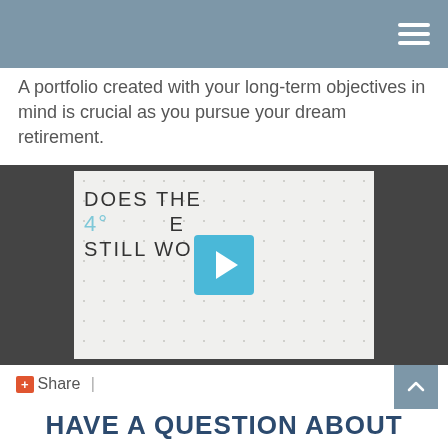A portfolio created with your long-term objectives in mind is crucial as you pursue your dream retirement.
[Figure (screenshot): Video thumbnail showing text 'DOES THE 4% RULE STILL WORK?' with a blue play button overlay on a light grid background]
+ Share |
HAVE A QUESTION ABOUT